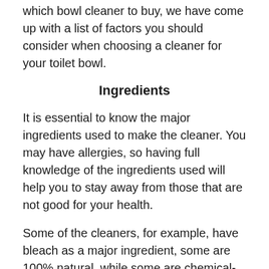which bowl cleaner to buy, we have come up with a list of factors you should consider when choosing a cleaner for your toilet bowl.
Ingredients
It is essential to know the major ingredients used to make the cleaner. You may have allergies, so having full knowledge of the ingredients used will help you to stay away from those that are not good for your health.
Some of the cleaners, for example, have bleach as a major ingredient, some are 100% natural, while some are chemical-based but without the bleach. Choose a product that doesn't affect your health.